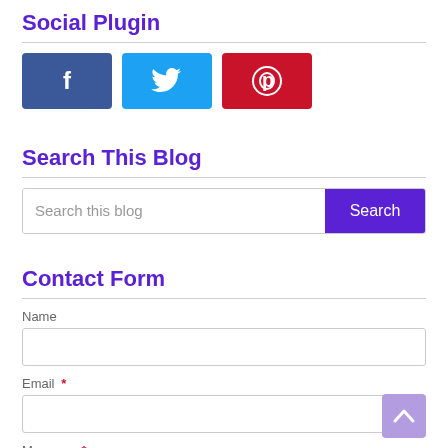Social Plugin
[Figure (illustration): Three social media buttons: Facebook (dark blue with f icon), Twitter (light blue with bird icon), Pinterest (red with P icon)]
Search This Blog
Search this blog [Search button]
Contact Form
Name
Email *
Message *